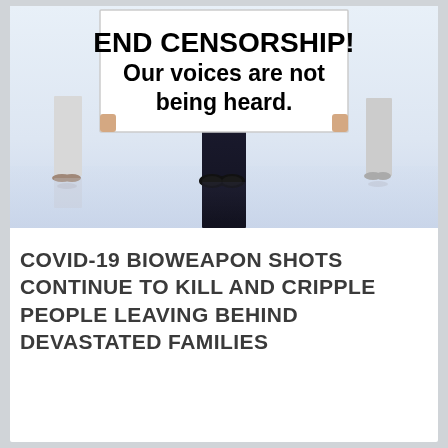[Figure (photo): Group of people holding a large white sign that reads 'END CENSORSHIP! Our voices are not being heard.' People are standing on a reflective white floor. The central figure wears dark pants. Sign text is bold black on white.]
COVID-19 BIOWEAPON SHOTS CONTINUE TO KILL AND CRIPPLE PEOPLE LEAVING BEHIND DEVASTATED FAMILIES